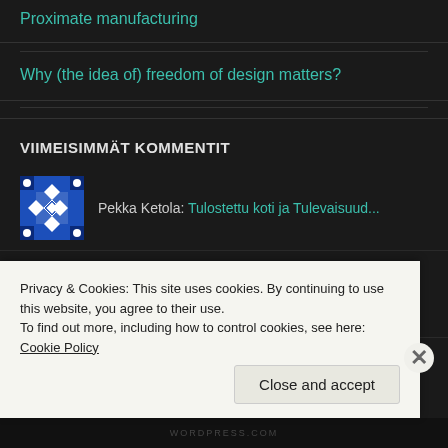Proximate manufacturing
Why (the idea of) freedom of design matters?
VIIMEISIMMÄT KOMMENTIT
Pekka Ketola: Tulostettu koti ja Tulevaisuud...
pketola: Arjen apuvälineet
Privacy & Cookies: This site uses cookies. By continuing to use this website, you agree to their use.
To find out more, including how to control cookies, see here: Cookie Policy
Close and accept